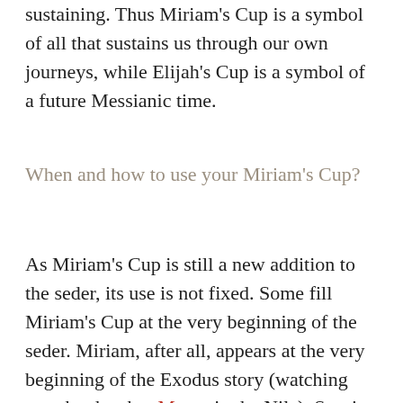sustaining. Thus Miriam's Cup is a symbol of all that sustains us through our own journeys, while Elijah's Cup is a symbol of a future Messianic time.
When and how to use your Miriam's Cup?
As Miriam's Cup is still a new addition to the seder, its use is not fixed. Some fill Miriam's Cup at the very beginning of the seder. Miriam, after all, appears at the very beginning of the Exodus story (watching over her brother Moses in the Nile). Starting with Miriam's Cup is also a way of letting people know right from the beginning